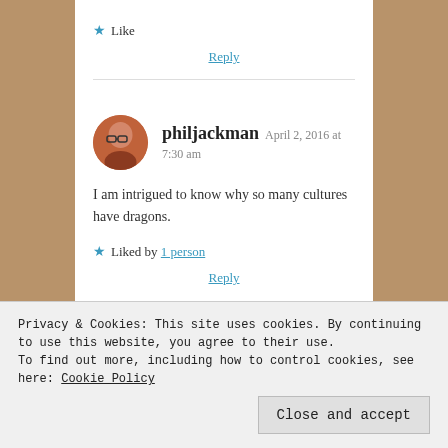★ Like
Reply
philjackman  April 2, 2016 at 7:30 am
I am intrigued to know why so many cultures have dragons.
★ Liked by 1 person
Reply
Privacy & Cookies: This site uses cookies. By continuing to use this website, you agree to their use.
To find out more, including how to control cookies, see here: Cookie Policy
Close and accept